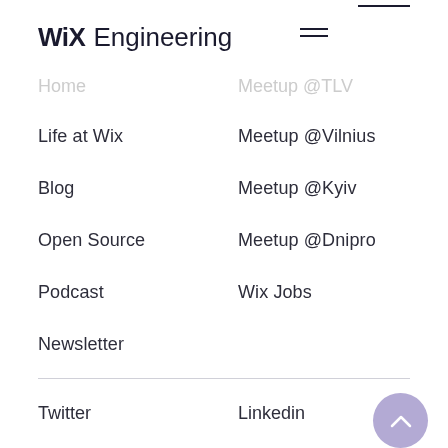Wix Engineering
Home   Meetup @TLV
Life at Wix   Meetup @Vilnius
Blog   Meetup @Kyiv
Open Source   Meetup @Dnipro
Podcast   Wix Jobs
Newsletter
Twitter   Linkedin
YouTube   Wix Kickstart
Facebook   Wix Enter
Github